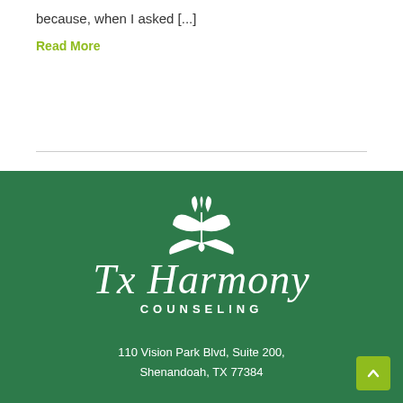because, when I asked [...]
Read More
[Figure (logo): Tx Harmony Counseling logo — white script text 'Tx Harmony' with a butterfly/leaf motif above, and 'COUNSELING' in white spaced capitals below, on a dark green background]
110 Vision Park Blvd, Suite 200, Shenandoah, TX 77384